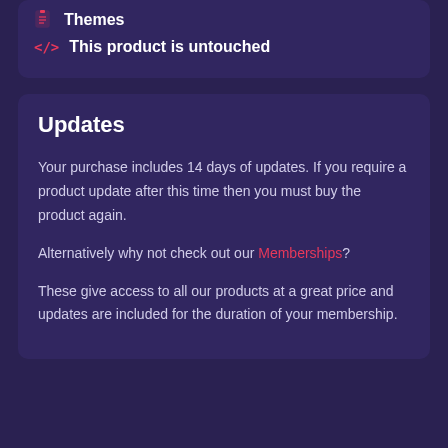Themes
</> This product is untouched
Updates
Your purchase includes 14 days of updates. If you require a product update after this time then you must buy the product again.
Alternatively why not check out our Memberships?
These give access to all our products at a great price and updates are included for the duration of your membership.